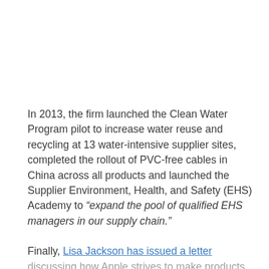In 2013, the firm launched the Clean Water Program pilot to increase water reuse and recycling at 13 water-intensive supplier sites, completed the rollout of PVC-free cables in China across all products and launched the Supplier Environment, Health, and Safety (EHS) Academy to “expand the pool of qualified EHS managers in our supply chain.”

Finally, Lisa Jackson has issued a letter discussing how Apple strives to make products in environmentally friendly ways.